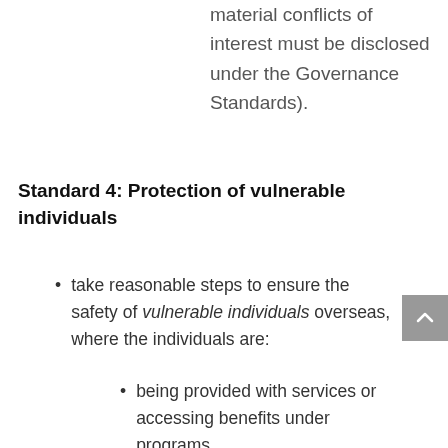material conflicts of interest must be disclosed under the Governance Standards).
Standard 4: Protection of vulnerable individuals
take reasonable steps to ensure the safety of vulnerable individuals overseas, where the individuals are:
being provided with services or accessing benefits under programs